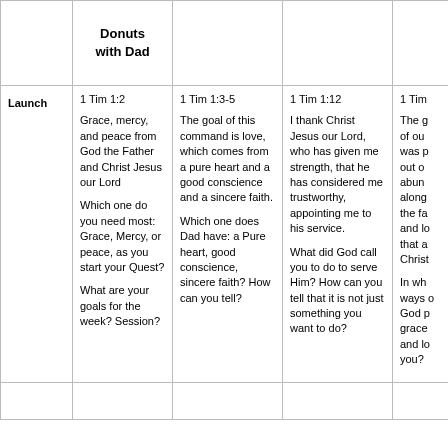|  | Donuts with Dad |  |  |  |
| --- | --- | --- | --- | --- |
| Launch | 1 Tim 1:2

Grace, mercy, and peace from God the Father and Christ Jesus our Lord

Which one do you need most: Grace, Mercy, or peace, as you start your Quest?

What are your goals for the week? Session? | 1 Tim 1:3-5

The goal of this command is love, which comes from a pure heart and a good conscience and a sincere faith.

Which one does Dad have: a Pure heart, good conscience, sincere faith? How can you tell? | 1 Tim 1:12

I thank Christ Jesus our Lord, who has given me strength, that he has considered me trustworthy, appointing me to his service.

What did God call you to do to serve Him? How can you tell that it is not just something you want to do? | 1 Tim…

The g… of ou… was p… out o… abun… along… the fa… and lo… that a… Christ…

In wh… ways o… God p… grace… and lo… you? |
|  |  |  |  |  |